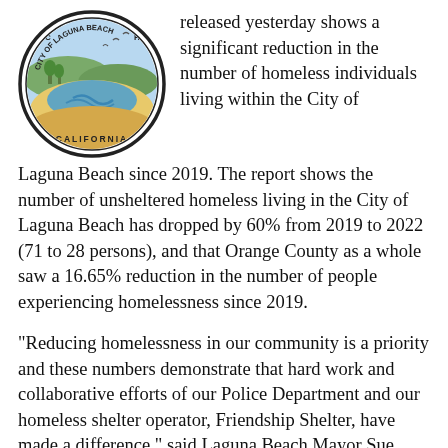[Figure (logo): City of Laguna Beach, California official seal/logo showing a coastal beach scene with a circular border.]
released yesterday shows a significant reduction in the number of homeless individuals living within the City of Laguna Beach since 2019.  The report shows the number of unsheltered homeless living in the City of Laguna Beach has dropped by 60% from 2019 to 2022 (71 to 28 persons), and that Orange County as a whole saw a 16.65% reduction in the number of people experiencing homelessness since 2019.
“Reducing homelessness in our community is a priority and these numbers demonstrate that hard work and collaborative efforts of our Police Department and our homeless shelter operator, Friendship Shelter, have made a difference,” said Laguna Beach Mayor Sue Kempf.  “While we still have significant work to be done, this data is encouraging that we are making strides in the right